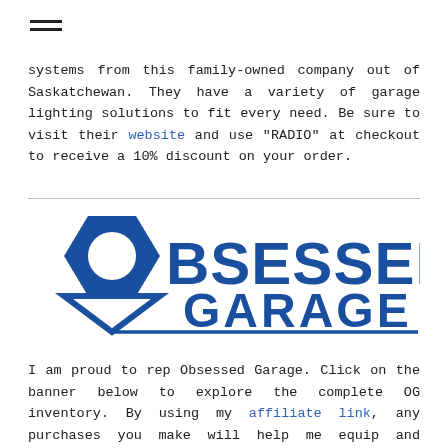[Figure (logo): Hamburger menu icon (three horizontal lines)]
systems from this family-owned company out of Saskatchewan. They have a variety of garage lighting solutions to fit every need. Be sure to visit their website and use "RADIO" at checkout to receive a 10% discount on your order.
[Figure (logo): Obsessed Garage logo - blue hexagon with letter O and text OBSESSED GARAGE]
I am proud to rep Obsessed Garage. Click on the banner below to explore the complete OG inventory. By using my affiliate link, any purchases you make will help me equip and enhance my garage.